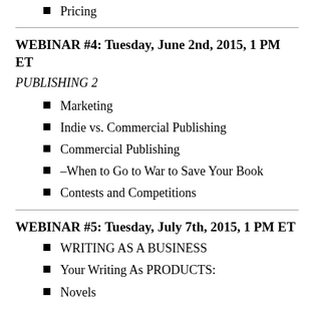Pricing
WEBINAR #4: Tuesday, June 2nd, 2015, 1 PM ET
PUBLISHING 2
Marketing
Indie vs. Commercial Publishing
Commercial Publishing
–When to Go to War to Save Your Book
Contests and Competitions
WEBINAR #5: Tuesday, July 7th, 2015, 1 PM ET
WRITING AS A BUSINESS
Your Writing As PRODUCTS:
Novels